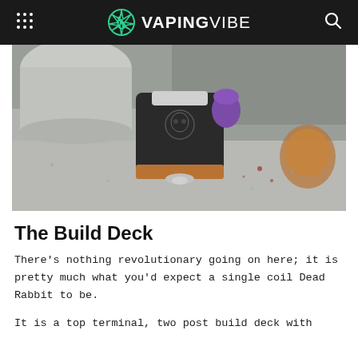VAPINGVIBE
[Figure (photo): Close-up photo of a black RDA (rebuildable dripping atomizer) vaping device with a purple drip tip and engraved skull logo, resting on a concrete surface with copper accents.]
The Build Deck
There's nothing revolutionary going on here; it is pretty much what you'd expect a single coil Dead Rabbit to be.
It is a top terminal, two post build deck with